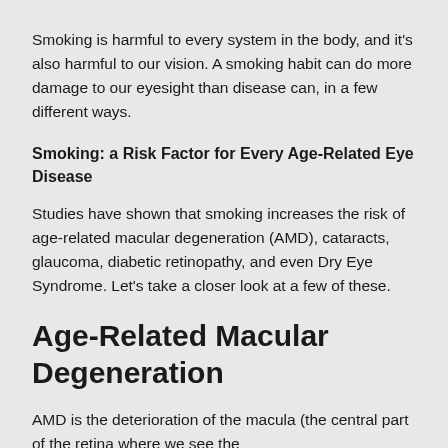Smoking is harmful to every system in the body, and it's also harmful to our vision. A smoking habit can do more damage to our eyesight than disease can, in a few different ways.
Smoking: a Risk Factor for Every Age-Related Eye Disease
Studies have shown that smoking increases the risk of age-related macular degeneration (AMD), cataracts, glaucoma, diabetic retinopathy, and even Dry Eye Syndrome. Let's take a closer look at a few of these.
Age-Related Macular Degeneration
AMD is the deterioration of the macula (the central part of the retina where we see the